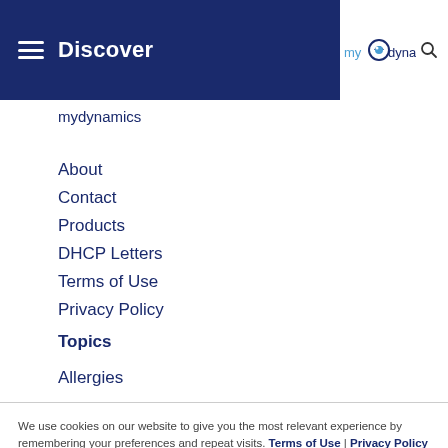Discover | my dynamics
mydynamics
About
Contact
Products
DHCP Letters
Terms of Use
Privacy Policy
Topics
Allergies
We use cookies on our website to give you the most relevant experience by remembering your preferences and repeat visits. Terms of Use | Privacy Policy
Cookie Settings | Accept